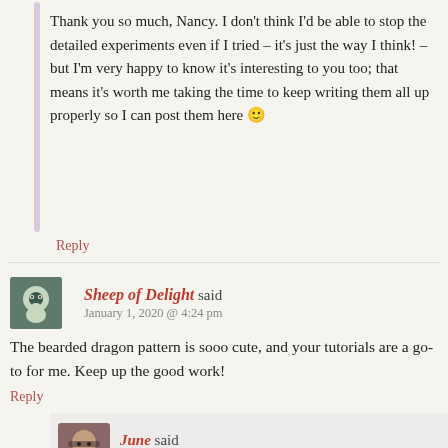Thank you so much, Nancy. I don't think I'd be able to stop the detailed experiments even if I tried – it's just the way I think! – but I'm very happy to know it's interesting to you too; that means it's worth me taking the time to keep writing them all up properly so I can post them here 🙂
Reply
Sheep of Delight said
January 1, 2020 @ 4:24 pm
The bearded dragon pattern is sooo cute, and your tutorials are a go-to for me. Keep up the good work!
Reply
June said
January 2, 2020 @ 10:41 am
Thank you, Sheep of Delight! (Cute name, btw.) I'd been